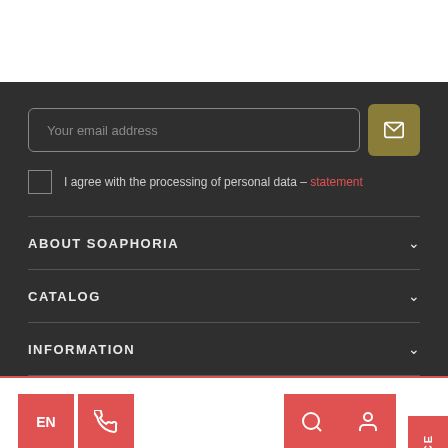Your email address
I agree with the processing of personal data – statement
ABOUT SOAPHORIA
CATALOG
INFORMATION
Soaphoria World Stores Eco thinking Journal Contact